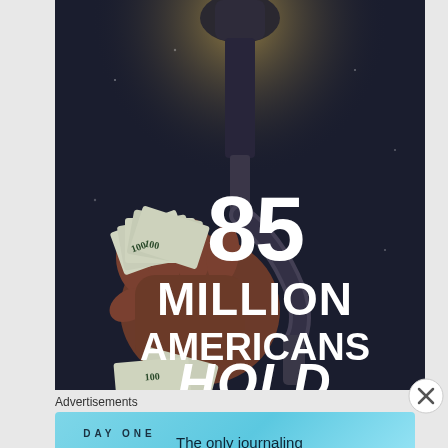[Figure (illustration): Dark dramatic illustration showing a gas pump nozzle held by a gloved hand clutching $100 bills, with large white bold text reading '85 MILLION AMERICANS HOLD' on the dark background. Poster-style political/social commentary artwork with moody lighting.]
Advertisements
[Figure (screenshot): Advertisement banner for 'DAY ONE' journaling app on a light blue/cyan gradient background. Shows 'D A Y O N E' text with three app icons (journal, person, notes) and the tagline 'The only journaling app you'll ever need.']